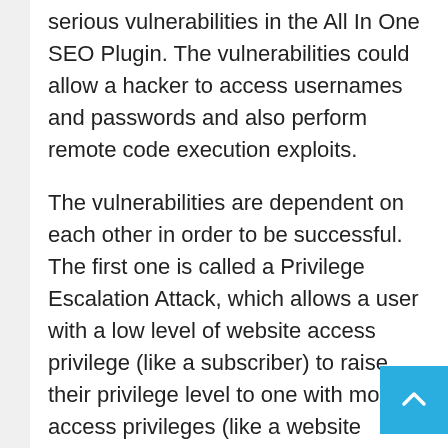serious vulnerabilities in the All In One SEO Plugin. The vulnerabilities could allow a hacker to access usernames and passwords and also perform remote code execution exploits.
The vulnerabilities are dependent on each other in order to be successful. The first one is called a Privilege Escalation Attack, which allows a user with a low level of website access privilege (like a subscriber) to raise their privilege level to one with more access privileges (like a website administrator).
The security researchers at Jetpack describe the vulnerability as severe and warn of the following consequences:
Advertisement